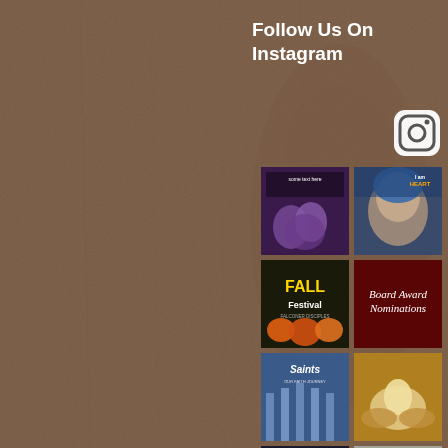[Figure (photo): Brown wood texture background covering the left portion of the page]
Follow Us On Instagram
[Figure (logo): Instagram logo icon (white rounded square camera icon)]
[Figure (photo): Grid of 12 Instagram thumbnail images arranged in 2 columns and 6 rows, showing various religious and nature themed posts including purple flowers, Mother Teresa quote, Fall Festival, Board Award Nominations, Saints, Easter egg, prayer/devotion posts, Coffee and Conversations, Garden of the Gods, and dove/God is an artist]